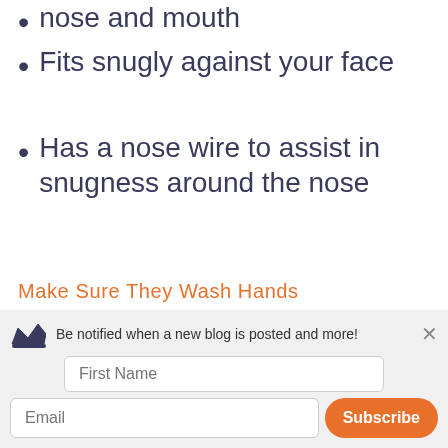nose and mouth
Fits snugly against your face
Has a nose wire to assist in snugness around the nose
Make Sure They Wash Hands
Washing hands protects children from getting and spreading COVID-19. Everyone should use soap and water to wash their
Be notified when a new blog is posted and more!